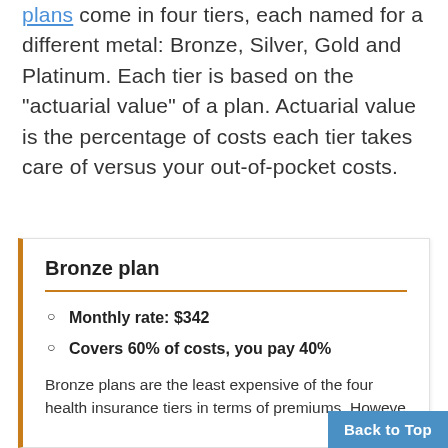plans come in four tiers, each named for a different metal: Bronze, Silver, Gold and Platinum. Each tier is based on the "actuarial value" of a plan. Actuarial value is the percentage of costs each tier takes care of versus your out-of-pocket costs.
Bronze plan
Monthly rate: $342
Covers 60% of costs, you pay 40%
Bronze plans are the least expensive of the four health insurance tiers in terms of premiums. Howeve